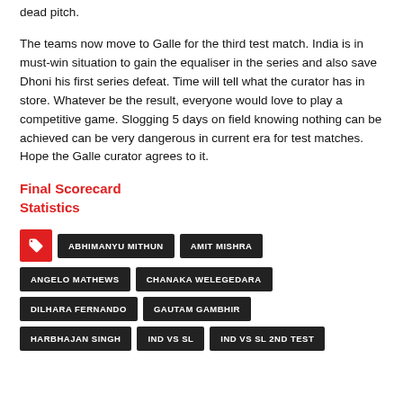dead pitch.
The teams now move to Galle for the third test match. India is in must-win situation to gain the equaliser in the series and also save Dhoni his first series defeat. Time will tell what the curator has in store. Whatever be the result, everyone would love to play a competitive game. Slogging 5 days on field knowing nothing can be achieved can be very dangerous in current era for test matches. Hope the Galle curator agrees to it.
Final Scorecard
Statistics
ABHIMANYU MITHUN
AMIT MISHRA
ANGELO MATHEWS
CHANAKA WELEGEDARA
DILHARA FERNANDO
GAUTAM GAMBHIR
HARBHAJAN SINGH
IND VS SL
IND VS SL 2ND TEST